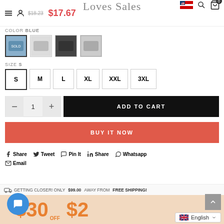$18.23 $17.67 | Loves Sales | [flag icon] [search] [cart 0]
COLOR: BLUE
[Figure (screenshot): Four product color swatches (Blue selected, white/grey, dark, light grey)]
SIZE: S
S  M  L  XL  XXL  3XL
- 1 + | ADD TO CART
BUY IT NOW
Share  Tweet  Pin It  Share  Whatsapp  Email
GETTING CLOSER! ONLY $99.00 AWAY FROM FREE SHIPPING!
$30 OFF $20